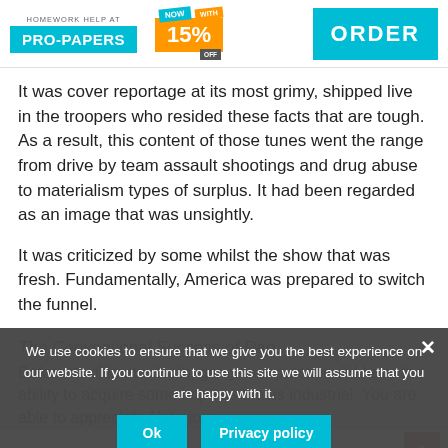[Figure (logo): Pro-Papers homework help banner with discount badge (15% OFF) and ORDER button]
It was cover reportage at its most grimy, shipped live in the troopers who resided these facts that are tough. As a result, this content of those tunes went the range from drive by team assault shootings and drug abuse to materialism types of surplus. It had been regarded as an image that was unsightly.
It was criticized by some whilst the show that was fresh. Fundamentally, America was prepared to switch the funnel.
The Conventional Success of Rap.
Before its ultimate death, gangsta reputation did have the ability to acquire some impetus that is industrial. You are able to appreciate Notorious
We use cookies to ensure that we give you the best experience on our website. If you continue to use this site we will assume that you are happy with it.